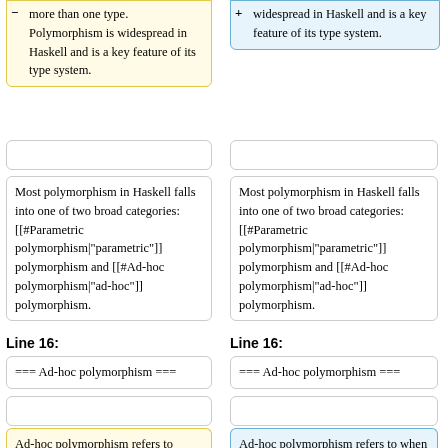more than one type. Polymorphism is widespread in Haskell and is a key feature of its type system.
widespread in Haskell and is a key feature of its type system.
Most polymorphism in Haskell falls into one of two broad categories: [[#Parametric polymorphism|"parametric"]] polymorphism and [[#Ad-hoc polymorphism|"ad-hoc"]] polymorphism.
Most polymorphism in Haskell falls into one of two broad categories: [[#Parametric polymorphism|"parametric"]] polymorphism and [[#Ad-hoc polymorphism|"ad-hoc"]] polymorphism.
Line 16:
Line 16:
=== Ad-hoc polymorphism ===
=== Ad-hoc polymorphism ===
Ad-hoc polymorphism refers to when a value is able to adopt
Ad-hoc polymorphism refers to when a value is able to adopt